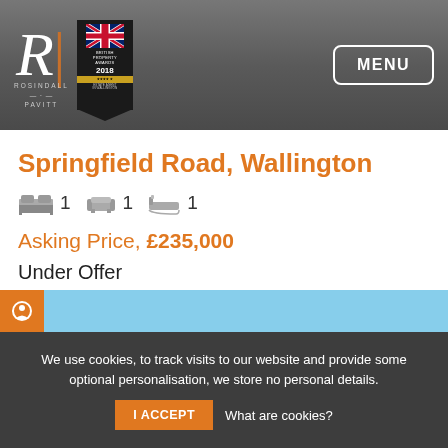[Figure (logo): Rosindall Pavitt estate agents logo with R monogram and British Property Awards 2018 badge, plus MENU button in header]
Springfield Road, Wallington
1 bedroom, 1 reception, 1 bathroom
Asking Price, £235,000
Under Offer
We use cookies, to track visits to our website and provide some optional personalisation, we store no personal details.
I ACCEPT  What are cookies?